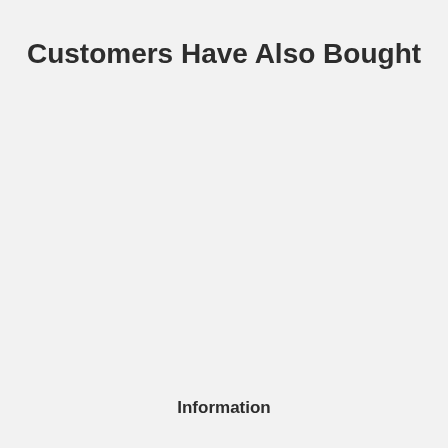Customers Have Also Bought
Information